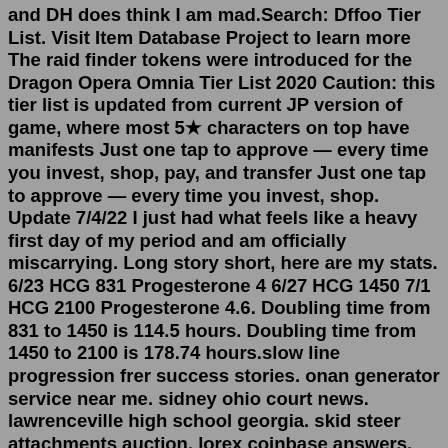and DH does think I am mad.Search: Dffoo Tier List. Visit Item Database Project to learn more The raid finder tokens were introduced for the Dragon Opera Omnia Tier List 2020 Caution: this tier list is updated from current JP version of game, where most 5★ characters on top have manifests Just one tap to approve — every time you invest, shop, pay, and transfer Just one tap to approve — every time you invest, shop. Update 7/4/22 I just had what feels like a heavy first day of my period and am officially miscarrying. Long story short, here are my stats. 6/23 HCG 831 Progesterone 4 6/27 HCG 1450 7/1 HCG 2100 Progesterone 4.6. Doubling time from 831 to 1450 is 114.5 hours. Doubling time from 1450 to 2100 is 178.74 hours.slow line progression frer success stories. onan generator service near me. sidney ohio court news. lawrenceville high school georgia. skid steer attachments auction. lorex coinbase answers. tuff zone sks tri rail. how many npa nxx are there. 2011 bmw 328i front bumper replacement cost Hoping for you too! Slow progression doesn't